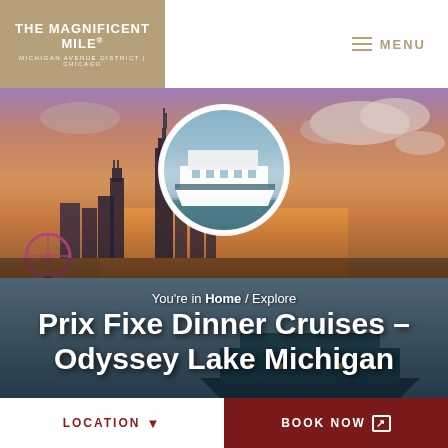[Figure (logo): The Magnificent Mile logo — Michigan Avenue District Chicago — on tan/gold background]
MENU
[Figure (photo): Chicago skyline at sunset with Lake Michigan, circular inset photo of a white cruise yacht (Odyssey), and a boat visible in the foreground water]
You're in Home / Explore
Prix Fixe Dinner Cruises – Odyssey Lake Michigan
LOCATION
BOOK NOW